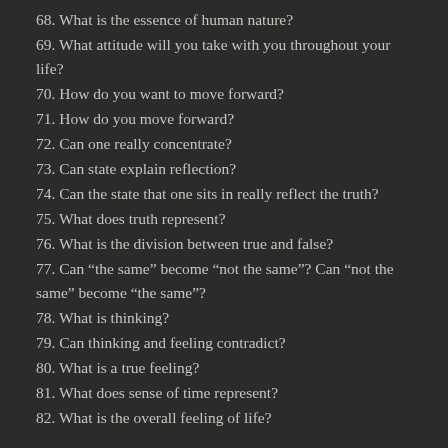68. What is the essence of human nature?
69. What attitude will you take with you throughout your life?
70. How do you want to move forward?
71. How do you move forward?
72. Can one really concentrate?
73. Can state explain reflection?
74. Can the state that one sits in really reflect the truth?
75. What does truth represent?
76. What is the division between true and false?
77. Can “the same” become “not the same”? Can “not the same” become “the same”?
78. What is thinking?
79. Can thinking and feeling contradict?
80. What is a true feeling?
81. What does sense of time represent?
82. What is the overall feeling of life?